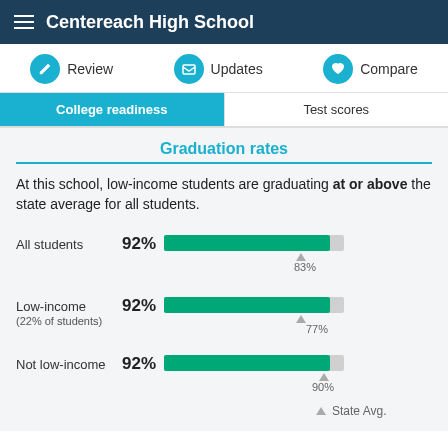Centereach High School
Review   Updates   Compare
College readiness   Test scores
Graduation rates
At this school, low-income students are graduating at or above the state average for all students.
[Figure (bar-chart): Graduation rates]
State Avg.